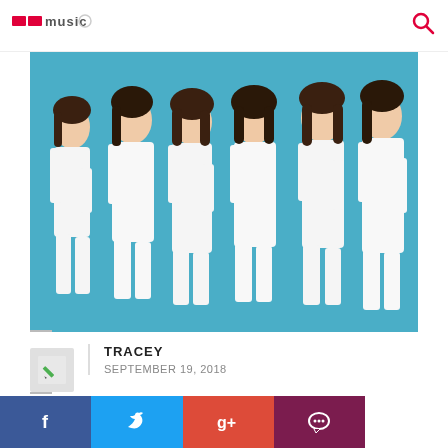K-music logo / site header with search icon
[Figure (photo): Six young women in white outfits posing against a blue background — a K-pop group promotional photo]
TRACEY
SEPTEMBER 19, 2018